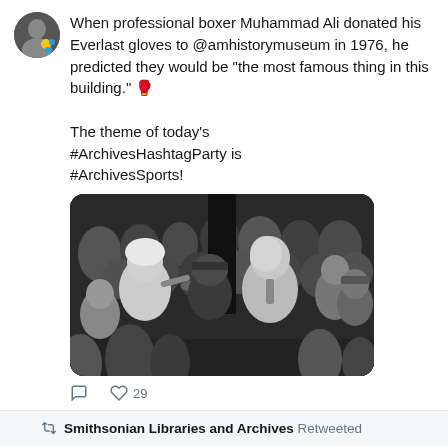When professional boxer Muhammad Ali donated his Everlast gloves to @amhistorymuseum in 1976, he predicted they would be "the most famous thing in this building." 🥊

The theme of today's #ArchivesHashtagParty is #ArchivesSports!
[Figure (photo): Black and white photograph of Muhammad Ali surrounded by a crowd of people, with a woman interviewing him using a microphone]
29 likes
Smithsonian Libraries and Archives Retweeted